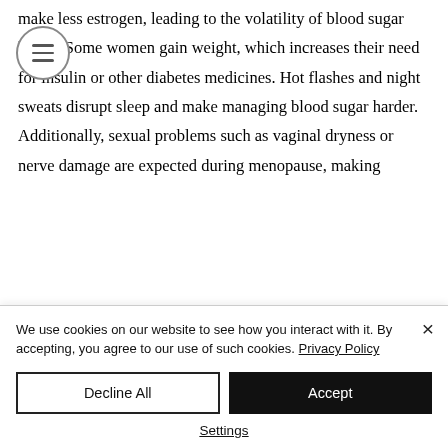make less estrogen, leading to the volatility of blood sugar levels. Some women gain weight, which increases their need for insulin or other diabetes medicines. Hot flashes and night sweats disrupt sleep and make managing blood sugar harder. Additionally, sexual problems such as vaginal dryness or nerve damage are expected during menopause, making
We use cookies on our website to see how you interact with it. By accepting, you agree to our use of such cookies. Privacy Policy
Decline All
Accept
Settings